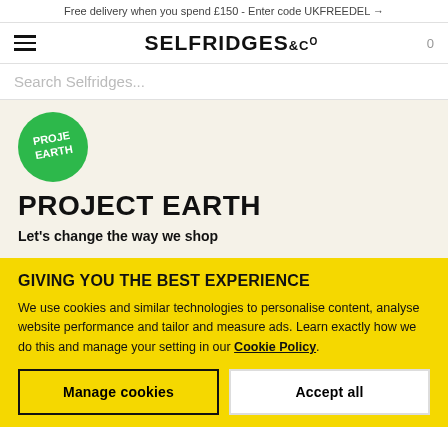Free delivery when you spend £150 - Enter code UKFREEDEL →
[Figure (logo): Selfridges & Co logo with hamburger menu and cart icon]
Search Selfridges...
[Figure (logo): Project Earth circular green badge with text PROJ EARTH]
PROJECT EARTH
Let's change the way we shop
GIVING YOU THE BEST EXPERIENCE
We use cookies and similar technologies to personalise content, analyse website performance and tailor and measure ads. Learn exactly how we do this and manage your setting in our Cookie Policy.
Manage cookies
Accept all